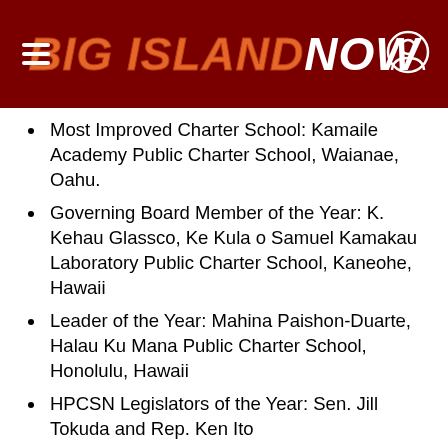BIG ISLAND NOW
Most Improved Charter School: Kamaile Academy Public Charter School, Waianae, Oahu.
Governing Board Member of the Year: K. Kehau Glassco, Ke Kula o Samuel Kamakau Laboratory Public Charter School, Kaneohe, Hawaii
Leader of the Year: Mahina Paishon-Duarte, Halau Ku Mana Public Charter School, Honolulu, Hawaii
HPCSN Legislators of the Year: Sen. Jill Tokuda and Rep. Ken Ito
HCPSN Community Partner of the Year: Karen Street, First Insurance Company of Hawaii
The awards dinner is open to the public, and ti…